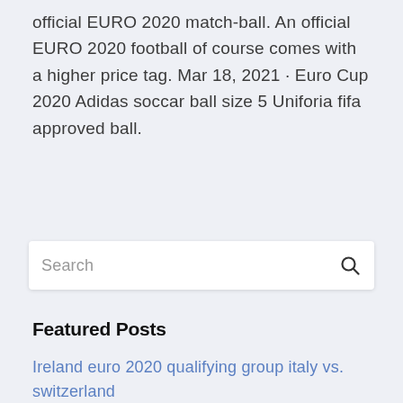official EURO 2020 match-ball. An official EURO 2020 football of course comes with a higher price tag. Mar 18, 2021 · Euro Cup 2020 Adidas soccar ball size 5 Uniforia fifa approved ball.
Search
Featured Posts
Ireland euro 2020 qualifying group italy vs. switzerland